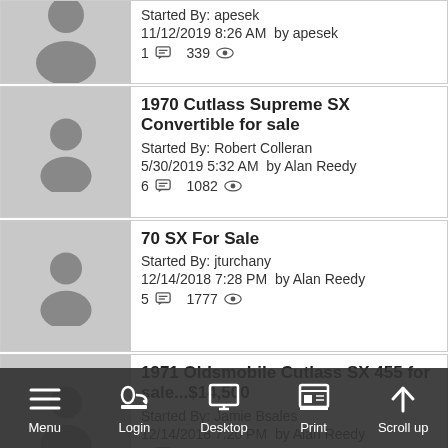Started By: apesek | 11/12/2019 8:26 AM by apesek | 1 comment 339 views
1970 Cutlass Supreme SX Convertible for sale | Started By: Robert Colleran | 5/30/2019 5:32 AM by Alan Reedy | 6 comments 1082 views
70 SX For Sale | Started By: jturchany | 12/14/2018 7:28 PM by Alan Reedy | 5 comments 1777 views
1971 Oldsmobile Cutlass SX 455 for sale...$14,500 | Started By: Jamie Bsales | 12/14/2018 7:20 PM by Alan Reedy | 2 comments 694 views
1971 SX FOR S... | Started By: PAUL DU... | 10/1... by PAUL...BEA | 3 comments ...
Menu | Login | Desktop | Print | Scroll up